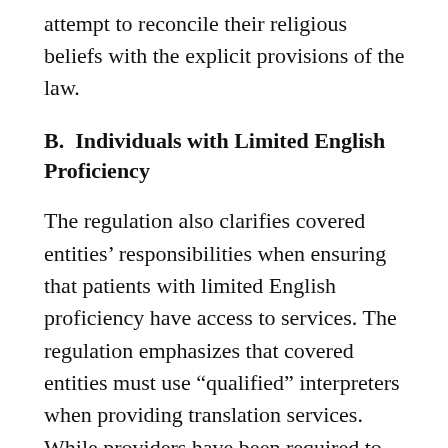attempt to reconcile their religious beliefs with the explicit provisions of the law.
B.  Individuals with Limited English Proficiency
The regulation also clarifies covered entities’ responsibilities when ensuring that patients with limited English proficiency have access to services. The regulation emphasizes that covered entities must use “qualified” interpreters when providing translation services. While providers have been required to offer some kind of interpretation services for years, many use bilingual staff